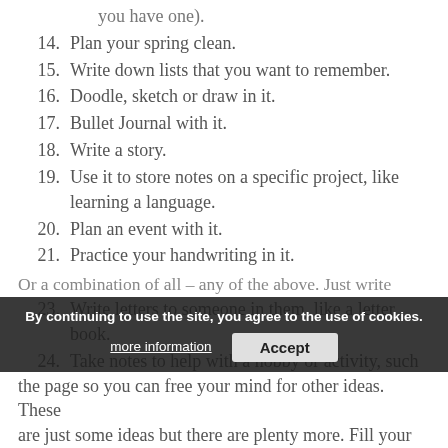you have one).
14. Plan your spring clean.
15. Write down lists that you want to remember.
16. Doodle, sketch or draw in it.
17. Bullet Journal with it.
18. Write a story.
19. Use it to store notes on a specific project, like learning a language.
20. Plan an event with it.
21. Practice your handwriting in it.
22. Compliments log.
23. Write letters to someone in them, like a letter book.
24. Take notes to help with a hobby or activity, such as gardening.
25. Jot down your favourite quotes.
Or a combination of all – any of the above. Just write whatever you need to in it, to get your thoughts onto the page so you can free your mind for other ideas. These are just some ideas but there are plenty more. Fill your